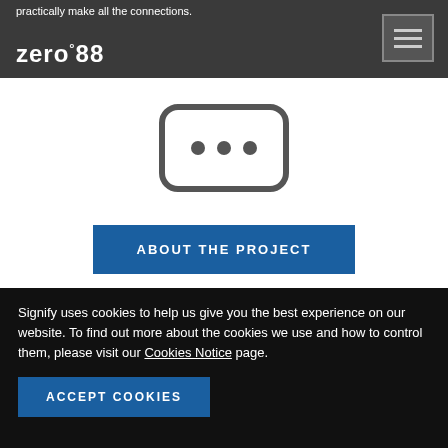practically make all the connections.
[Figure (screenshot): Zero88 logo in white on dark grey header bar with hamburger menu button on right]
[Figure (illustration): Rounded rectangle icon with three horizontal dots (ellipsis) inside, grey outline on white background]
ABOUT THE PROJECT
Signify uses cookies to help us give you the best experience on our website. To find out more about the cookies we use and how to control them, please visit our Cookies Notice page.
ACCEPT COOKIES